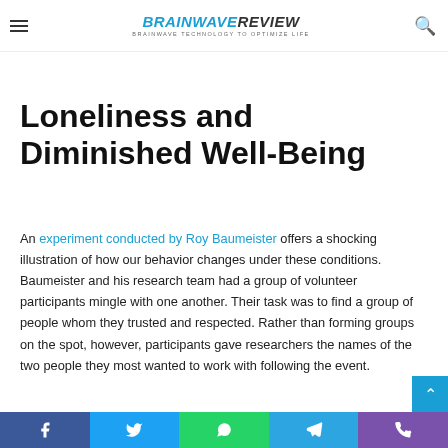BRAINWAVE REVIEW — BRAINWAVE TECHNOLOGY TO OPTIMIZE LIFE
or feel that you lack connection in your life. How does your sleep as well? Do you eat differently?
Loneliness and Diminished Well-Being
An experiment conducted by Roy Baumeister offers a shocking illustration of how our behavior changes under these conditions. Baumeister and his research team had a group of volunteer participants mingle with one another. Their task was to find a group of people whom they trusted and respected. Rather than forming groups on the spot, however, participants gave researchers the names of the two people they most wanted to work with following the event.
Facebook Twitter WhatsApp Telegram Phone